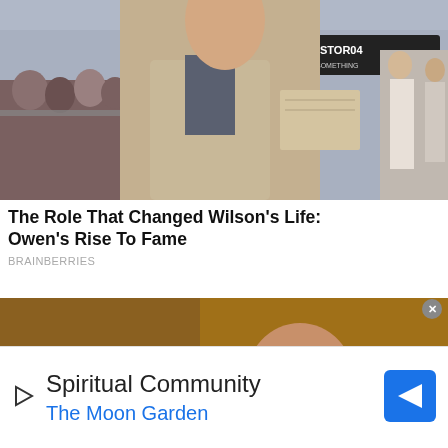[Figure (photo): Photo of a man in a beige blazer holding papers, standing in front of a crowd at what appears to be a public event or premiere, city street background with storefront visible]
The Role That Changed Wilson's Life: Owen's Rise To Fame
BRAINBERRIES
[Figure (photo): Photo of a woman with long brown hair wearing a black bikini top, reclining on a couch/chair in a dimly lit room with golden/warm background]
Spiritual Community
The Moon Garden